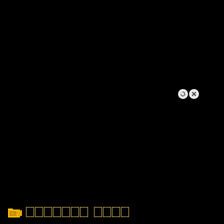[Figure (screenshot): Black screen with two small circular UI buttons (a refresh/play button and an X/close button) positioned in the upper-right area, and a bottom toolbar showing a yellow video camera folder icon followed by redacted/pixelated text blocks in yellow/gold color.]